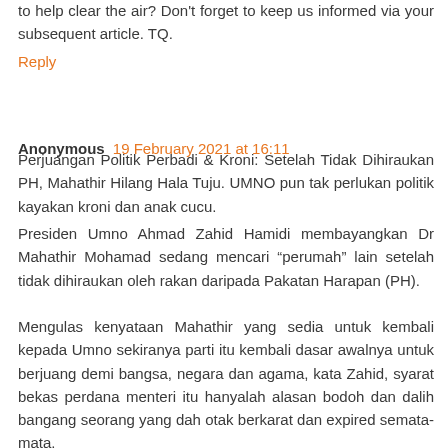to help clear the air? Don't forget to keep us informed via your subsequent article. TQ.
Reply
Anonymous 19 February 2021 at 16:11
Perjuangan Politik Perbadi & Kroni: Setelah Tidak Dihiraukan PH, Mahathir Hilang Hala Tuju. UMNO pun tak perlukan politik kayakan kroni dan anak cucu.
Presiden Umno Ahmad Zahid Hamidi membayangkan Dr Mahathir Mohamad sedang mencari “perumah” lain setelah tidak dihiraukan oleh rakan daripada Pakatan Harapan (PH).
Mengulas kenyataan Mahathir yang sedia untuk kembali kepada Umno sekiranya parti itu kembali dasar awalnya untuk berjuang demi bangsa, negara dan agama, kata Zahid, syarat bekas perdana menteri itu hanyalah alasan bodoh dan dalih bangang seorang yang dah otak berkarat dan expired semata-mata.